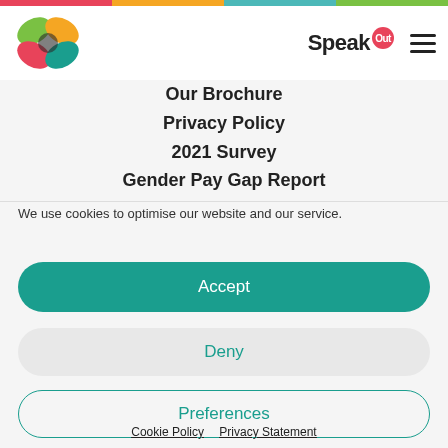[Figure (logo): Colorful butterfly/flower logo with green, orange, pink, and teal petals]
Speak Out
Our Brochure
Privacy Policy
2021 Survey
Gender Pay Gap Report
We use cookies to optimise our website and our service.
Accept
Deny
Preferences
Cookie Policy   Privacy Statement